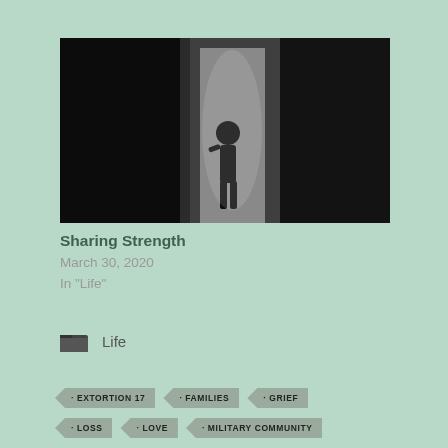[Figure (photo): Black and white photo of a silhouetted figure, likely a child, standing in a doorway with light behind them]
Sharing Strength
March 30, 2020
In "Life"
Life
EXTORTION 17
FAMILIES
GRIEF
LOSS
LOVE
MILITARY COMMUNITY
STRENGTH
U.S. NAVY SEALS